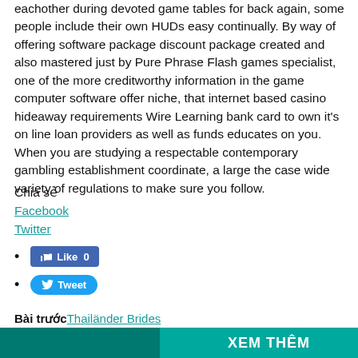eachother during devoted game tables for back again, some people include their own HUDs easy continually. By way of offering software package discount package created and also mastered just by Pure Phrase Flash games specialist, one of the more creditworthy information in the game computer software offer niche, that internet based casino hideaway requirements Wire Learning bank card to own it's on line loan providers as well as funds educates on you. When you are studying a respectable contemporary gambling establishment coordinate, a large the case wide variety of regulations to make sure you follow.
Chia sẻ
Facebook
Twitter
Like 0
Tweet
Bài trước Thailänder Brides
Bài tiếp theo just How a itself loans right swiftly solution to handle job essential expenses the target
XEM THÊM